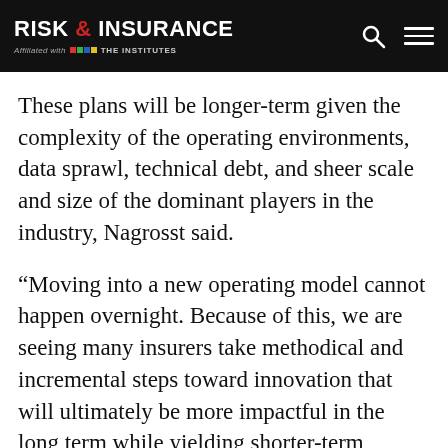RISK & INSURANCE — Affiliated with THE INSTITUTES
These plans will be longer-term given the complexity of the operating environments, data sprawl, technical debt, and sheer scale and size of the dominant players in the industry, Nagrosst said.
“Moving into a new operating model cannot happen overnight. Because of this, we are seeing many insurers take methodical and incremental steps toward innovation that will ultimately be more impactful in the long term while yielding shorter-term improvements for their business,” he explained.